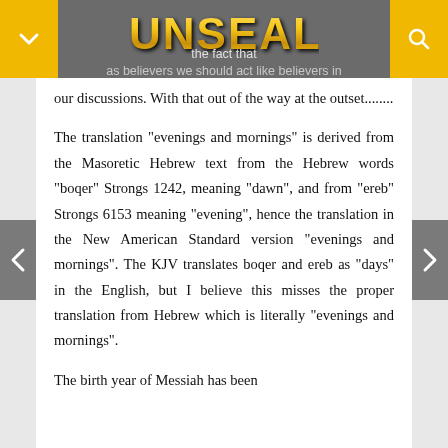UNSEALED — the fact that as believers we should act like believers in
our discussions. With that out of the way at the outset........
The translation "evenings and mornings" is derived from the Masoretic Hebrew text from the Hebrew words "boqer" Strongs 1242, meaning "dawn", and from "ereb" Strongs 6153 meaning "evening", hence the translation in the New American Standard version "evenings and mornings". The KJV translates boqer and ereb as "days" in the English, but I believe this misses the proper translation from Hebrew which is literally "evenings and mornings".
The birth year of Messiah has been